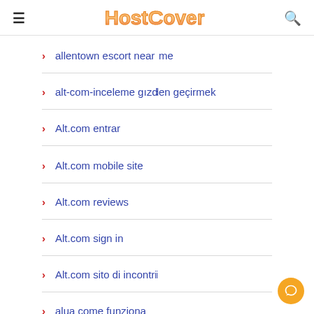HostCover
allentown escort near me
alt-com-inceleme gözden geçirmek
Alt.com entrar
Alt.com mobile site
Alt.com reviews
Alt.com sign in
Alt.com sito di incontri
alua come funziona